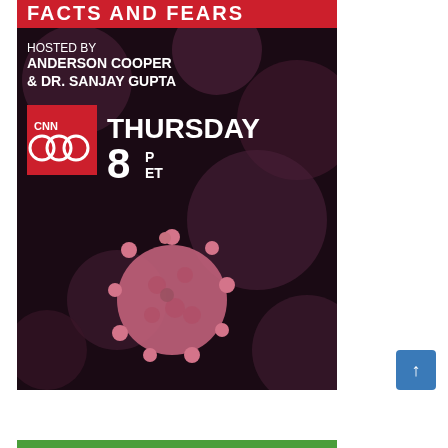[Figure (illustration): CNN special 'Facts and Fears' promotional image. Dark, moody background with pink/purple coronavirus cell imagery. Text reads: 'FACTS AND FEARS' (partially cut off at top in red/white). 'HOSTED BY ANDERSON COOPER & DR. SANJAY GUPTA'. CNN logo in red square. 'THURSDAY 8P ET'.]